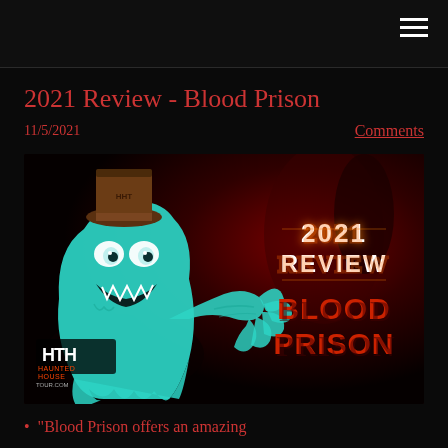Navigation header with hamburger menu
2021 Review - Blood Prison
11/5/2021
Comments
[Figure (illustration): Haunted House Tour promotional image for 2021 Review - Blood Prison. Shows a teal/green cartoon ghost creature wearing a top hat on the left, with '2021 REVIEW' in glowing orange text and 'BLOOD PRISON' in bold red text on the right, against a dark red atmospheric background. HTH Haunted House Tour logo in the lower left.]
"Blood Prison offers an amazing